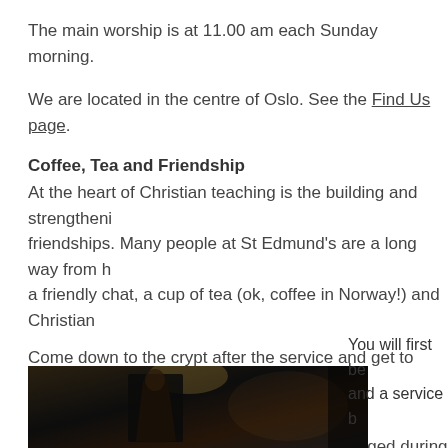The main worship is at 11.00 am each Sunday morning.
We are located in the centre of Oslo. See the Find Us page.
Coffee, Tea and Friendship
At the heart of Christian teaching is the building and strengthening of friendships. Many people at St Edmund's are a long way from home and a friendly chat, a cup of tea (ok, coffee in Norway!) and Christian fellowship...
Come down to the crypt after the service and get to know us. We'd love to meet you.
There are various other social activities arranged during the year including a September, the family summer picnic, Christmas Bazaar in November, Shrove Tuesday, Lent lunches, Lent groups, and more.
What happens at the Sunday service?
[Figure (photo): Interior photo of a church, dark ambiance with a figure visible]
You will first be greeted and a service b...